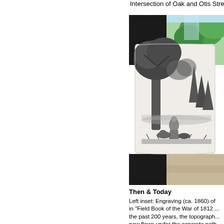Intersection of Oak and Otis Stree
[Figure (photo): Composite image showing a modern color photograph of a street intersection with trees overlaid with a black and white engraving (ca. 1860) of a wooded landscape scene with a figure and dogs near a large tree.]
Then & Today
Left inset: Engraving (ca. 1860) of
in "Field Book of the War of 1812 ...
the past 200 years, the topograph...
now flows under the concrete path...